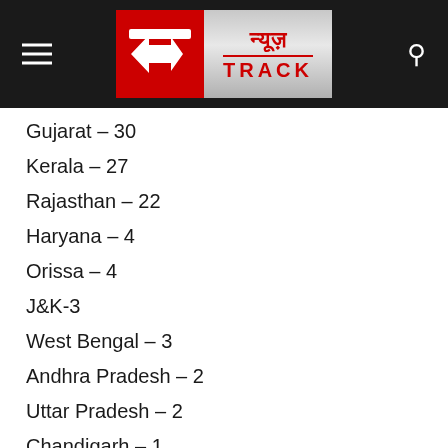[Figure (logo): News Track logo with red and silver box, Hindi text न्यूज़ and TRACK in red]
Gujarat – 30
Kerala – 27
Rajasthan – 22
Haryana – 4
Orissa – 4
J&K-3
West Bengal – 3
Andhra Pradesh – 2
Uttar Pradesh – 2
Chandigarh – 1
Ladakh – 1
Uttarakhand – 1